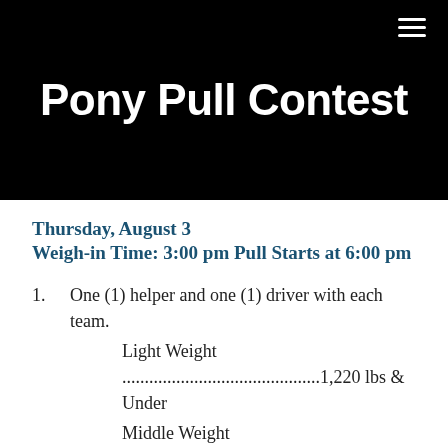Pony Pull Contest
Thursday, August 3
Weigh-in Time: 3:00 pm Pull Starts at 6:00 pm
1. One (1) helper and one (1) driver with each team.
    Light Weight .............................................1,220 lbs & Under
    Middle Weight ...........................................1,221 lbs – 1,520 lbs